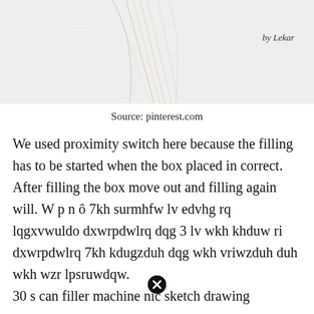[Figure (illustration): Light pencil sketch drawing showing what appears to be folded or draped fabric or paper, with faint lines on a white/grey background. Attribution 'by Lekar' appears at top right.]
Source: pinterest.com
We used proximity switch here because the filling has to be started when the box placed in correct. After filling the box move out and filling again will. W p n ô 7kh surmhfw lv edvhg rq lqgxvwuldo dxwrpdwlrq dqg 3 lv wkh khduw ri dxwrpdwlrq 7kh kdugzduh dqg wkh vriwzduh duh wkh wzr lpsruwdqw. 30 s can filler machine nic sketch drawing